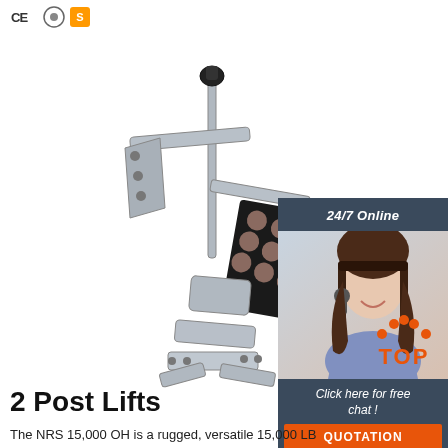[Figure (logo): CE certification logo, round certification stamp, and orange S badge]
[Figure (photo): Industrial 2-post lift arm mechanism, silver/grey metal with black mounting pad featuring circular rubber grips, adjustable arm assembly]
[Figure (infographic): 24/7 Online chat widget with dark blue header, woman with headset photo, 'Click here for free chat!' text, and orange QUOTATION button]
[Figure (logo): Orange TOP badge with arc of dots above text]
2 Post Lifts
The NRS 15,000 OH is a rugged, versatile 15,000 LB